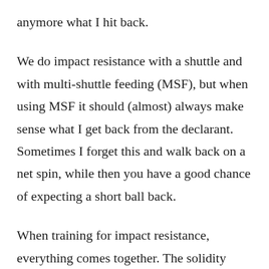anymore what I hit back.
We do impact resistance with a shuttle and with multi-shuttle feeding (MSF), but when using MSF it should (almost) always make sense what I get back from the declarant. Sometimes I forget this and walk back on a net spin, while then you have a good chance of expecting a short ball back.
When training for impact resistance, everything comes together. The solidity only comes when all the elements come together in an exercise. Which footwork you choose must belong to the strokes you play and you do that with the right split step that fits the tactics you want